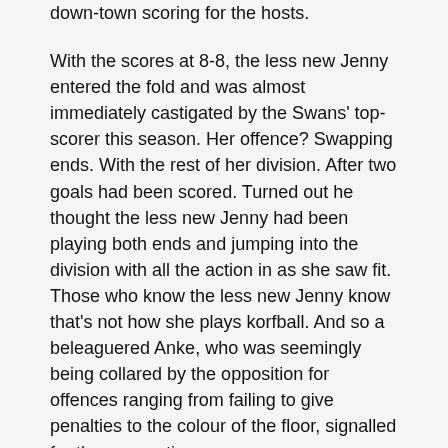down-town scoring for the hosts.
With the scores at 8-8, the less new Jenny entered the fold and was almost immediately castigated by the Swans' top-scorer this season. Her offence? Swapping ends. With the rest of her division. After two goals had been scored. Turned out he thought the less new Jenny had been playing both ends and jumping into the division with all the action in as she saw fit. Those who know the less new Jenny know that's not how she plays korfball. And so a beleaguered Anke, who was seemingly being collared by the opposition for offences ranging from failing to give penalties to the colour of the floor, signalled for the resumption.
Some of the defending from Croydon was what one might call enthusiastic, with attackers charging at helpless Supernova defenders with gay abandon. Pointing out that we had spotted this was happening did not improve the mood of the opposition.
Supernova, and especially Jo, took the game to the